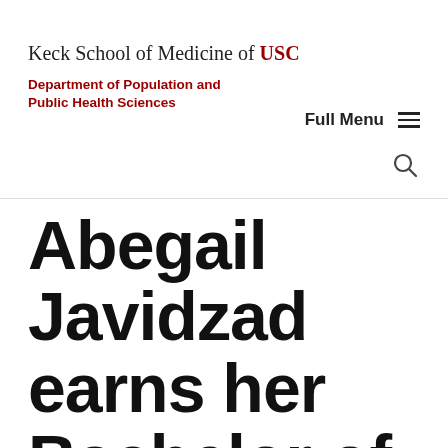Keck School of Medicine of USC
Department of Population and Public Health Sciences
Full Menu
Abegail Javidzad earns her Bachelor of Science in Health